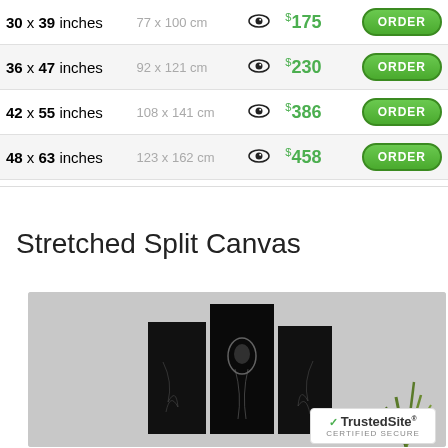| Size (inches) | Size (cm) |  | Price |  |
| --- | --- | --- | --- | --- |
| 30 x 39 inches | 77 x 100 cm | 👁 | $175 | ORDER |
| 36 x 47 inches | 92 x 121 cm | 👁 | $230 | ORDER |
| 42 x 55 inches | 108 x 141 cm | 👁 | $386 | ORDER |
| 48 x 63 inches | 123 x 162 cm | 👁 | $458 | ORDER |
Stretched Split Canvas
[Figure (photo): Three black canvas panels displayed on a gray wall showing a dark horse portrait, with a green plant in the corner and a TrustedSite badge overlay]